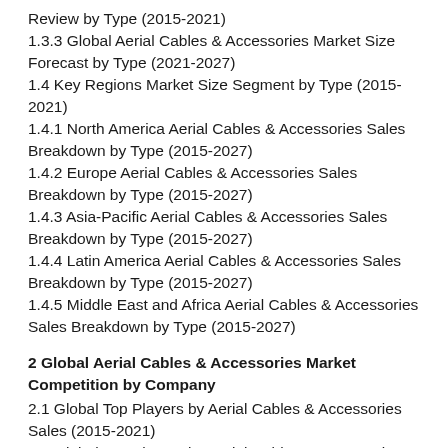Review by Type (2015-2021)
1.3.3 Global Aerial Cables & Accessories Market Size Forecast by Type (2021-2027)
1.4 Key Regions Market Size Segment by Type (2015-2021)
1.4.1 North America Aerial Cables & Accessories Sales Breakdown by Type (2015-2027)
1.4.2 Europe Aerial Cables & Accessories Sales Breakdown by Type (2015-2027)
1.4.3 Asia-Pacific Aerial Cables & Accessories Sales Breakdown by Type (2015-2027)
1.4.4 Latin America Aerial Cables & Accessories Sales Breakdown by Type (2015-2027)
1.4.5 Middle East and Africa Aerial Cables & Accessories Sales Breakdown by Type (2015-2027)
2 Global Aerial Cables & Accessories Market Competition by Company
2.1 Global Top Players by Aerial Cables & Accessories Sales (2015-2021)
2.2 Global Top Players by Aerial Cables & Accessories Revenue (2015-2021)